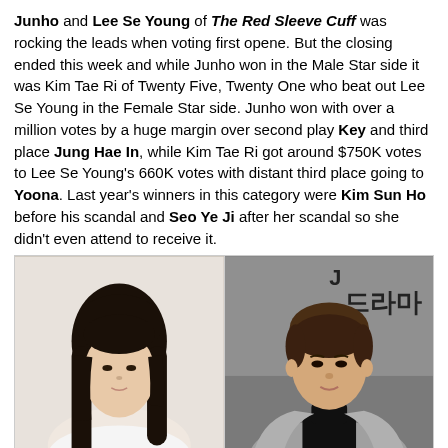Junho and Lee Se Young of The Red Sleeve Cuff was rocking the leads when voting first opene. But the closing ended this week and while Junho won in the Male Star side it was Kim Tae Ri of Twenty Five, Twenty One who beat out Lee Se Young in the Female Star side. Junho won with over a million votes by a huge margin over second play Key and third place Jung Hae In, while Kim Tae Ri got around $750K votes to Lee Se Young's 660K votes with distant third place going to Yoona. Last year's winners in this category were Kim Sun Ho before his scandal and Seo Ye Ji after her scandal so she didn't even attend to receive it.
[Figure (photo): Two side-by-side headshot photos. Left: a young Korean woman with long straight dark hair against a light background. Right: a young Korean man in a grey blazer and black turtleneck against a backdrop with Korean text reading 드라마.]